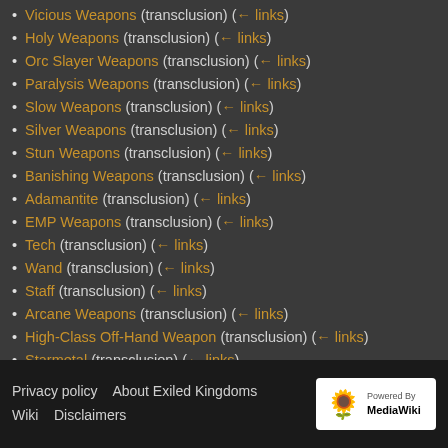Vicious Weapons (transclusion) (← links)
Holy Weapons (transclusion) (← links)
Orc Slayer Weapons (transclusion) (← links)
Paralysis Weapons (transclusion) (← links)
Slow Weapons (transclusion) (← links)
Silver Weapons (transclusion) (← links)
Stun Weapons (transclusion) (← links)
Banishing Weapons (transclusion) (← links)
Adamantite (transclusion) (← links)
EMP Weapons (transclusion) (← links)
Tech (transclusion) (← links)
Wand (transclusion) (← links)
Staff (transclusion) (← links)
Arcane Weapons (transclusion) (← links)
High-Class Off-Hand Weapon (transclusion) (← links)
Starmetal (transclusion) (← links)
View (previous 50 | next 50) (20 | 50 | 100 | 250 | 500)
Privacy policy   About Exiled Kingdoms Wiki   Disclaimers   Powered By MediaWiki